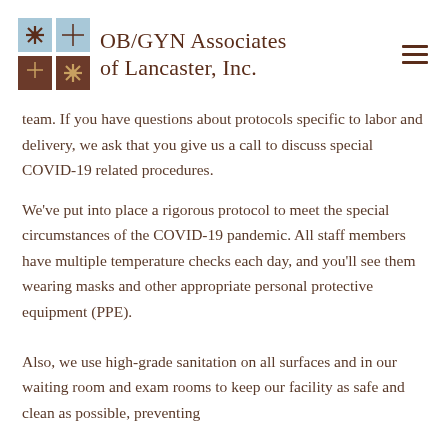[Figure (logo): OB/GYN Associates of Lancaster, Inc. logo with blue and brown square tile graphic and company name text]
team. If you have questions about protocols specific to labor and delivery, we ask that you give us a call to discuss special COVID-19 related procedures.
We've put into place a rigorous protocol to meet the special circumstances of the COVID-19 pandemic. All staff members have multiple temperature checks each day, and you'll see them wearing masks and other appropriate personal protective equipment (PPE).
Also, we use high-grade sanitation on all surfaces and in our waiting room and exam rooms to keep our facility as safe and clean as possible, preventing